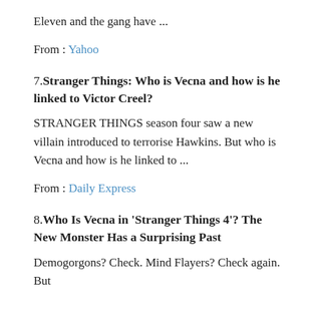Eleven and the gang have ...
From : Yahoo
7. Stranger Things: Who is Vecna and how is he linked to Victor Creel?
STRANGER THINGS season four saw a new villain introduced to terrorise Hawkins. But who is Vecna and how is he linked to ...
From : Daily Express
8. Who Is Vecna in 'Stranger Things 4'? The New Monster Has a Surprising Past
Demogorgons? Check. Mind Flayers? Check again. But